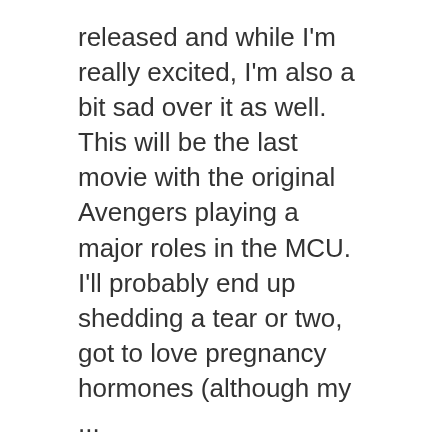released and while I'm really excited, I'm also a bit sad over it as well. This will be the last movie with the original Avengers playing a major roles in the MCU. I'll probably end up shedding a tear or two, got to love pregnancy hormones (although my ...
Continue reading
geeksandmamas   Geeky   Leave a comment   April 24, 2019   1 Minute
Older posts